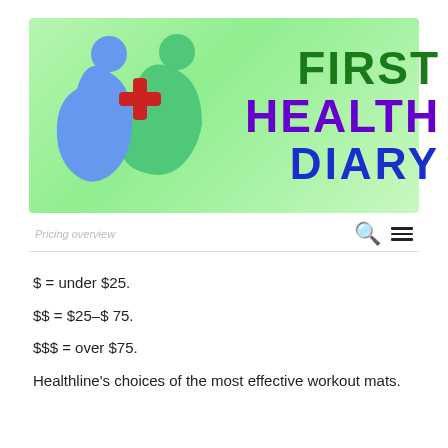[Figure (logo): First Health Diary logo: green gradient banner with two human figures (blue and green), a red medical cross, and bold text reading FIRST HEALTH DIARY]
Pricing overview
$ = under $25.
$$ = $25–$ 75.
$$$ = over $75.
Healthline's choices of the most effective workout mats.